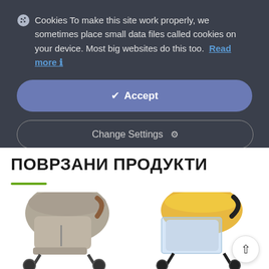🍪 Cookies To make this site work properly, we sometimes place small data files called cookies on your device. Most big websites do this too. Read more ℹ
[Figure (screenshot): Accept button — blue-gray rounded pill button with checkmark and 'Accept' text]
[Figure (screenshot): Change Settings button — outlined rounded pill button with gear icon and 'Change Settings' text]
ПОВРЗАНИ ПРОДУКТИ
[Figure (photo): Baby stroller with gray/taupe fabric and brown handle, viewed from the side]
[Figure (photo): Baby stroller with yellow canopy and mosquito net cover, black frame]